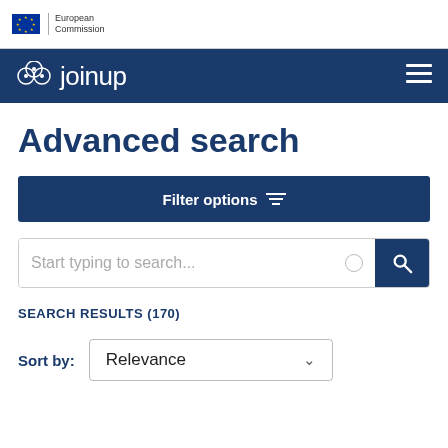[Figure (logo): European Commission logo with EU flag stars and text 'European Commission']
joinup navigation bar with hamburger menu
Advanced search
Filter options
Start typing to search...
SEARCH RESULTS (170)
Sort by: Relevance